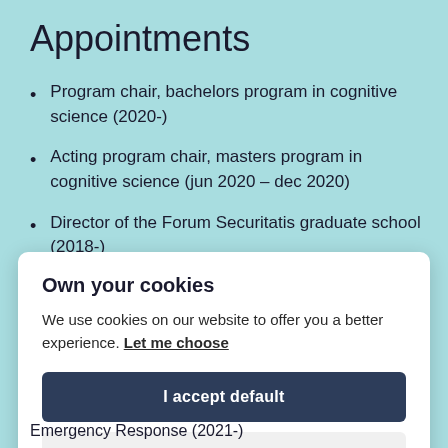Appointments
Program chair, bachelors program in cognitive science (2020-)
Acting program chair, masters program in cognitive science (jun 2020 – dec 2020)
Director of the Forum Securitatis graduate school (2018-)
Own your cookies
We use cookies on our website to offer you a better experience. Let me choose
I accept default
Only necessary
Emergency Response (2021-)